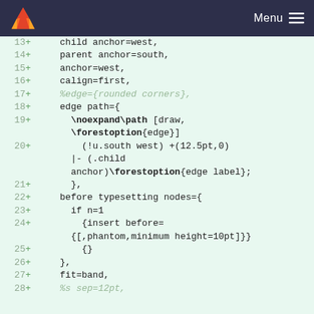Menu
[Figure (screenshot): Code diff screenshot showing lines 13-28 of a forest/TikZ LaTeX configuration with line numbers, plus signs, and code content on a light green background.]